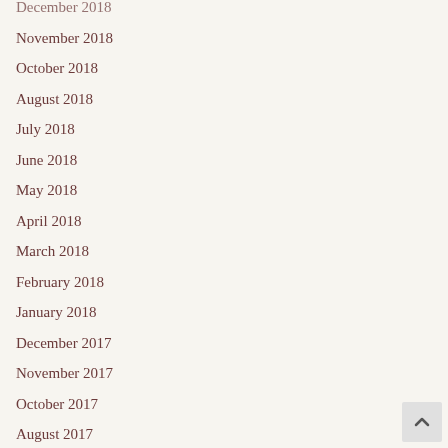December 2018
November 2018
October 2018
August 2018
July 2018
June 2018
May 2018
April 2018
March 2018
February 2018
January 2018
December 2017
November 2017
October 2017
August 2017